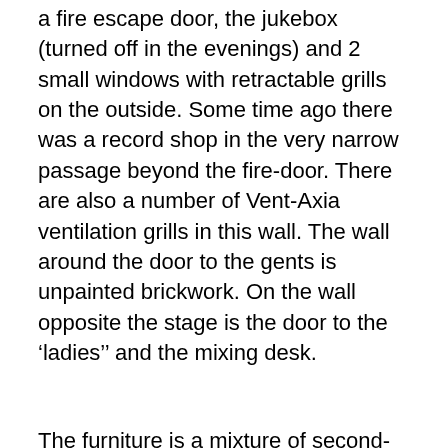a fire escape door, the jukebox (turned off in the evenings) and 2 small windows with retractable grills on the outside. Some time ago there was a record shop in the very narrow passage beyond the fire-door. There are also a number of Vent-Axia ventilation grills in this wall. The wall around the door to the gents is unpainted brickwork. On the wall opposite the stage is the door to the ‘ladies’’ and the mixing desk.
The furniture is a mixture of second-hand stuff. There are usually about 8-10 tables though when the place is at capacity these are stored. When Oto opened most of the furniture was from the Erco range (there are some photos of the space showing this furniture on the Architects site) but over the years most of these have disappeared to be